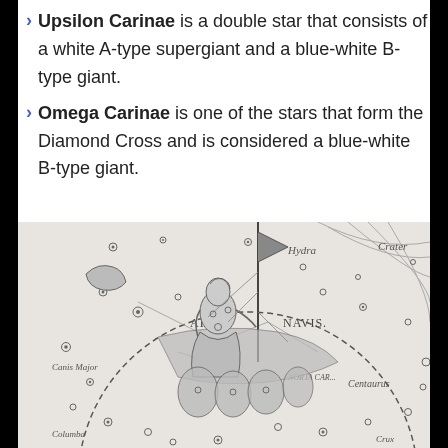Upsilon Carinae is a double star that consists of a white A-type supergiant and a blue-white B-type giant.
Omega Carinae is one of the stars that form the Diamond Cross and is considered a blue-white B-type giant.
[Figure (illustration): Historical star atlas engraving showing the Argo Navis constellation with a figure of a ship's stern holding a staff/rudder, surrounded by constellation labels including Hydra, Crater, Carina, Centaurus, Columba, Crux, and Canis Major. Stars are marked with circles of varying sizes. A dashed circular line demarcates a region. The image is in black and white/grayscale.]